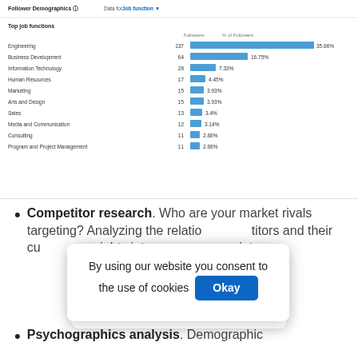[Figure (bar-chart): Follower Demographics – Top job functions]
Competitor research. Who are your market rivals targeting? Analyzing the relationship between competitors and their customers can provide insights into your own audience's pain points.
Psychographics analysis. Demographic